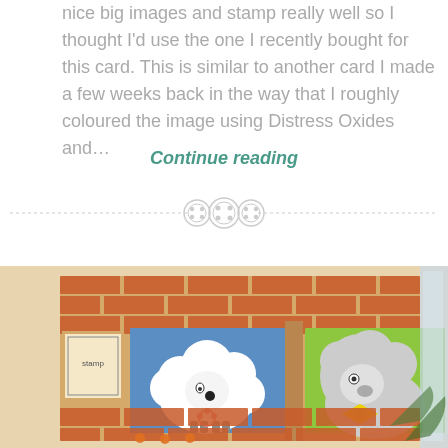nice big images and stamp really well so I thought I'd use the one I recently bought for this card. This is similar to another card I made a few weeks back in the way that I roughly coloured the image using Distress Oxides and…
Continue reading
[Figure (illustration): Decorative divider with three button icons on a dashed horizontal line]
[Figure (photo): Photo of a handmade card featuring a brick wall design with two stamped panels: a white fluffy sheep on blue background and a wolf/dog with yellow bow on green background, decorated with orange gems along the bottom]